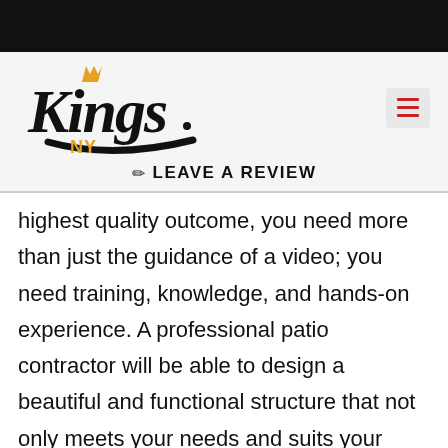[Figure (logo): Kings NY company logo in script font with orange crown accent and swoosh underline]
✏ LEAVE A REVIEW
highest quality outcome, you need more than just the guidance of a video; you need training, knowledge, and hands-on experience. A professional patio contractor will be able to design a beautiful and functional structure that not only meets your needs and suits your style, but that also works with the layout of your Brookhaven, NY property. They'll use the highest